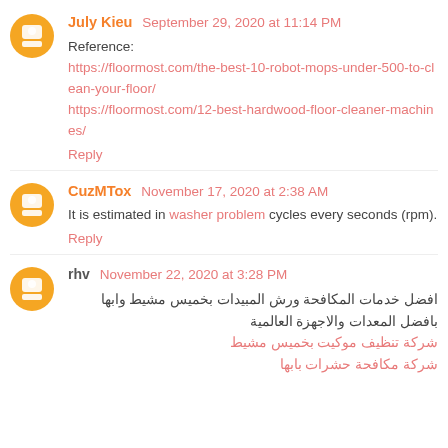July Kieu September 29, 2020 at 11:14 PM
Reference:
https://floormost.com/the-best-10-robot-mops-under-500-to-clean-your-floor/
https://floormost.com/12-best-hardwood-floor-cleaner-machines/
Reply
CuzMTox November 17, 2020 at 2:38 AM
It is estimated in washer problem cycles every seconds (rpm).
Reply
rhv November 22, 2020 at 3:28 PM
افضل خدمات المكافحة ورش المبيدات بخميس مشيط وابها بافضل المعدات والاجهزة العالمية
شركة تنظيف موكيت بخميس مشيط
شركة مكافحة حشرات بابها